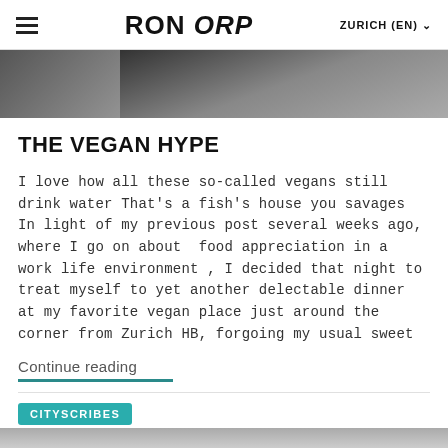RON ORP — ZURICH (EN)
[Figure (photo): Grayscale hero image cropped at top of article]
THE VEGAN HYPE
I love how all these so-called vegans still drink water That's a fish's house you savages In light of my previous post several weeks ago, where I go on about  food appreciation in a work life environment , I decided that night to treat myself to yet another delectable dinner at my favorite vegan place just around the corner from Zurich HB, forgoing my usual sweet
Continue reading
CITYSCRIBES
msgoodlife.ch
28.09.2016